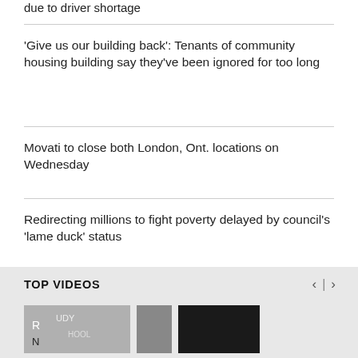due to driver shortage
'Give us our building back': Tenants of community housing building say they've been ignored for too long
Movati to close both London, Ont. locations on Wednesday
Redirecting millions to fight poverty delayed by council's 'lame duck' status
TOP VIDEOS
[Figure (photo): Thumbnail images for top videos section]